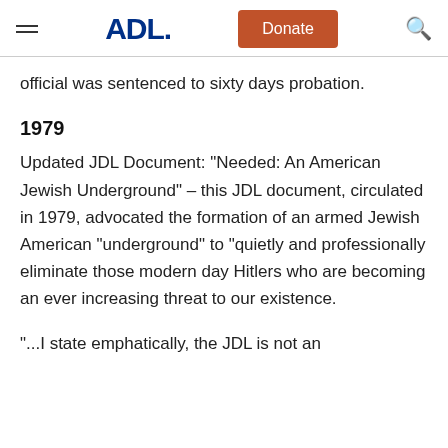ADL | Donate | Search
official was sentenced to sixty days probation.
1979
Updated JDL Document: "Needed: An American Jewish Underground" – this JDL document, circulated in 1979, advocated the formation of an armed Jewish American "underground" to "quietly and professionally eliminate those modern day Hitlers who are becoming an ever increasing threat to our existence.
"...I state emphatically, the JDL is not an